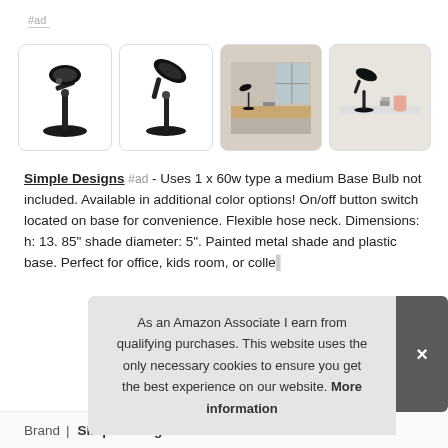#ad
[Figure (photo): Four product images of a black desk lamp (Simple Designs brand): two showing the lamp on white background, two lifestyle shots on a wooden desk and white desk]
Simple Designs #ad - Uses 1 x 60w type a medium Base Bulb not included. Available in additional color options! On/off button switch located on base for convenience. Flexible hose neck. Dimensions: h: 13. 85" shade diameter: 5". Painted metal shade and plastic base. Perfect for office, kids room, or colle...
As an Amazon Associate I earn from qualifying purchases. This website uses the only necessary cookies to ensure you get the best experience on our website. More information
| Brand |  |
| --- | --- |
| Brand | Simple Designs #ad |